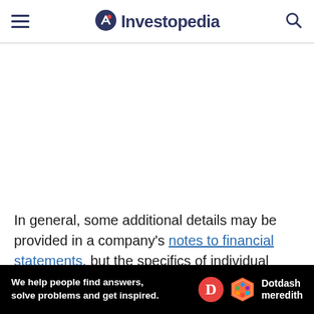Investopedia
In general, some additional details may be provided in a company's notes to financial statements, but the specifics of individual business transactions are kept in records by the company. The transaction details are contained in specific asset accounts, which are then
[Figure (other): Dotdash Meredith advertisement banner: 'We help people find answers, solve problems and get inspired.' with Dotdash Meredith logo]